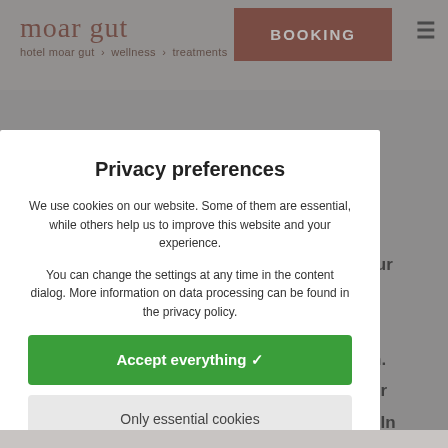moar gut — hotel moar gut › wellness › treatments | BOOKING
Privacy preferences
We use cookies on our website. Some of them are essential, while others help us to improve this website and your experience.
You can change the settings at any time in the content dialog. More information on data processing can be found in the privacy policy.
Accept everything 🗸
Only essential cookies
Individual cookie settings
Privacy policy | Legal Notice